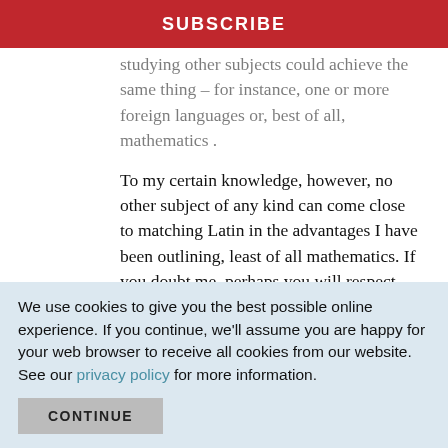SUBSCRIBE
studying other subjects could achieve the same thing – for instance, one or more foreign languages or, best of all, mathematics .
To my certain knowledge, however, no other subject of any kind can come close to matching Latin in the advantages I have been outlining, least of all mathematics. If you doubt me, perhaps you will respect the richest man and greatest money-maker of his day, Jean Paul Getty, who
We use cookies to give you the best possible online experience. If you continue, we'll assume you are happy for your web browser to receive all cookies from our website. See our privacy policy for more information.
CONTINUE